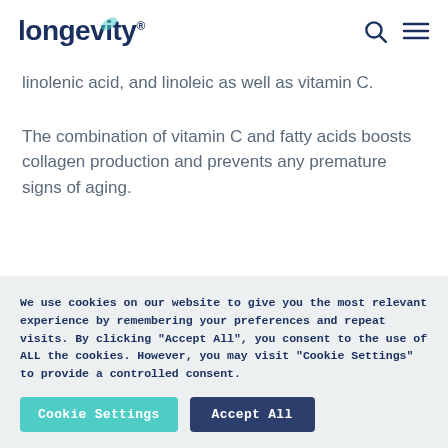longevity
linolenic acid, and linoleic as well as vitamin C.
The combination of vitamin C and fatty acids boosts collagen production and prevents any premature signs of aging.
We use cookies on our website to give you the most relevant experience by remembering your preferences and repeat visits. By clicking "Accept All", you consent to the use of ALL the cookies. However, you may visit "Cookie Settings" to provide a controlled consent.